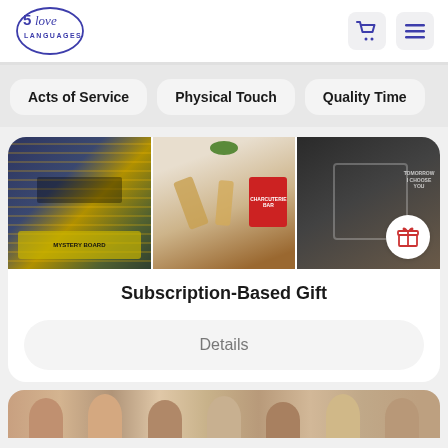5 Love Languages
Acts of Service
Physical Touch
Quality Time
[Figure (photo): Three product images: board game/puzzle set, charcuterie/food board, dark apparel item with a gift icon overlay]
Subscription-Based Gift
Details
[Figure (photo): Strip of people's faces partially visible at the bottom of the page]